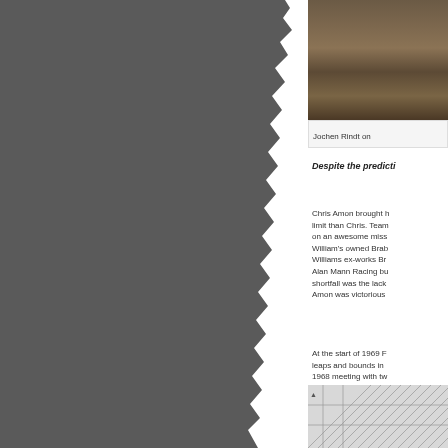[Figure (photo): Photo of Jochen Rindt, partially visible at top right of page]
Jochen Rindt on
Despite the predicti
Chris Amon brought h limit than Chris. Team on an awesome miss William's owned Brab Williams ex-works Br Alan Mann Racing bu shortfall was the lack Amon was victorious
At the start of 1969 F leaps and bounds in 1968 meeting with tw
[Figure (engineering-diagram): Engineering or technical diagram visible at bottom right corner of page]